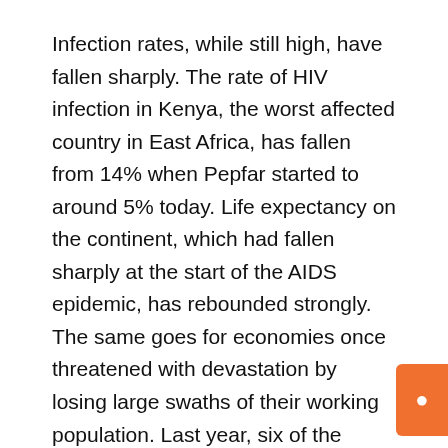Infection rates, while still high, have fallen sharply. The rate of HIV infection in Kenya, the worst affected country in East Africa, has fallen from 14% when Pepfar started to around 5% today. Life expectancy on the continent, which had fallen sharply at the start of the AIDS epidemic, has rebounded strongly. The same goes for economies once threatened with devastation by losing large swaths of their working population. Last year, six of the fastest growing economies in the world were African.
To understand the impact of Mr. Bush’s scheme, you have to go back to the early 2000s, when the global AIDS epidemic was exploding. In Africa, some 20 million people were infected, of whom